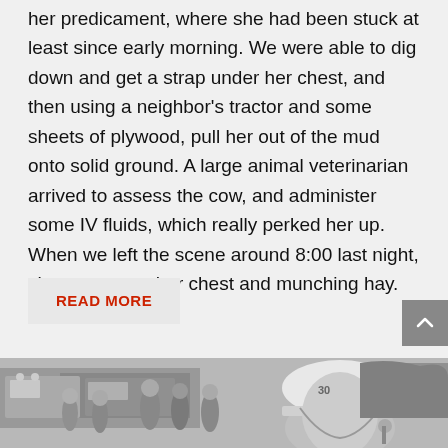her predicament, where she had been stuck at least since early morning. We were able to dig down and get a strap under her chest, and then using a neighbor's tractor and some sheets of plywood, pull her out of the mud onto solid ground. A large animal veterinarian arrived to assess the cow, and administer some IV fluids, which really perked her up. When we left the scene around 8:00 last night, she was up on her chest and munching hay.
READ MORE
[Figure (photo): Black and white photo of firefighters/emergency responders in helmets near vehicles, with a prominent figure in a white helmet in the foreground]